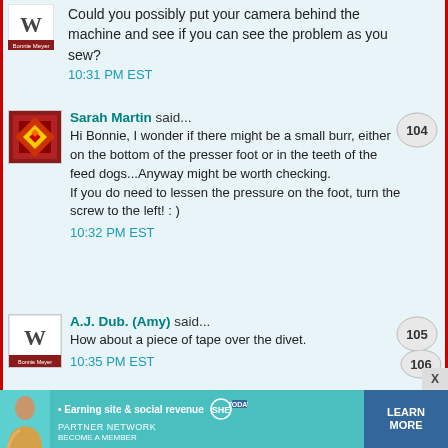Could you possibly put your camera behind the machine and see if you can see the problem as you sew?
10:31 PM EST
Sarah Martin said...
Hi Bonnie, I wonder if there might be a small burr, either on the bottom of the presser foot or in the teeth of the feed dogs...Anyway might be worth checking.
If you do need to lessen the pressure on the foot, turn the screw to the left! : )
10:32 PM EST
A.J. Dub. (Amy) said...
How about a piece of tape over the divet.
10:35 PM EST
[Figure (screenshot): Ad banner for SHE Media Partner Network - Earning site & social revenue. Learn More button.]